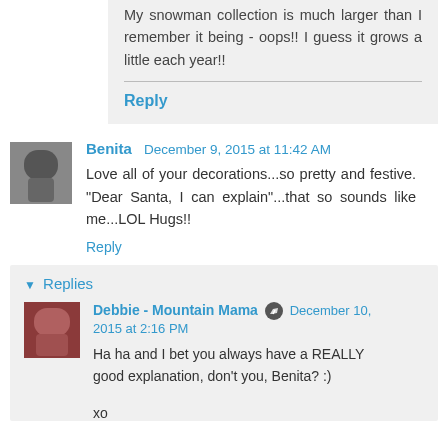My snowman collection is much larger than I remember it being - oops!! I guess it grows a little each year!!
Reply
Benita  December 9, 2015 at 11:42 AM
Love all of your decorations...so pretty and festive. "Dear Santa, I can explain"...that so sounds like me...LOL Hugs!!
Reply
▼ Replies
Debbie - Mountain Mama  December 10, 2015 at 2:16 PM
Ha ha and I bet you always have a REALLY good explanation, don't you, Benita? :)
xo